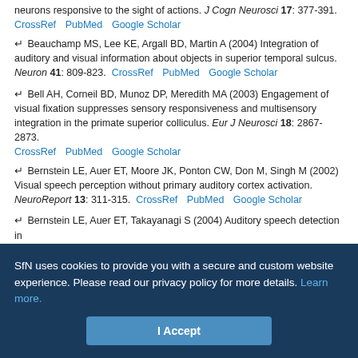neurons responsive to the sight of actions. J Cogn Neurosci 17: 377-391. CrossRef PubMed Google Scholar
Beauchamp MS, Lee KE, Argall BD, Martin A (2004) Integration of auditory and visual information about objects in superior temporal sulcus. Neuron 41: 809-823. CrossRef PubMed Google Scholar
Bell AH, Corneil BD, Munoz DP, Meredith MA (2003) Engagement of visual fixation suppresses sensory responsiveness and multisensory integration in the primate superior colliculus. Eur J Neurosci 18: 2867-2873. CrossRef PubMed Google Scholar
Bernstein LE, Auer ET, Moore JK, Ponton CW, Don M, Singh M (2002) Visual speech perception without primary auditory cortex activation. NeuroReport 13: 311-315. CrossRef PubMed Google Scholar
Bernstein LE, Auer ET, Takayanagi S (2004) Auditory speech detection in...
SfN uses cookies to provide you with a secure and custom website experience. Please read our privacy policy for more details. Learn more.